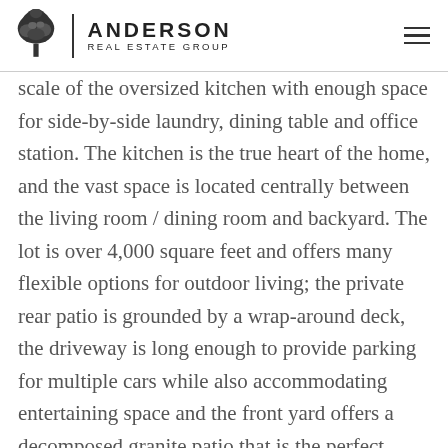ANDERSON REAL ESTATE GROUP
scale of the oversized kitchen with enough space for side-by-side laundry, dining table and office station. The kitchen is the true heart of the home, and the vast space is located centrally between the living room / dining room and backyard. The lot is over 4,000 square feet and offers many flexible options for outdoor living; the private rear patio is grounded by a wrap-around deck, the driveway is long enough to provide parking for multiple cars while also accommodating entertaining space and the front yard offers a decomposed granite patio that is the perfect place to dine al fresco while taking in the dynamic park scene. As if this distinct home